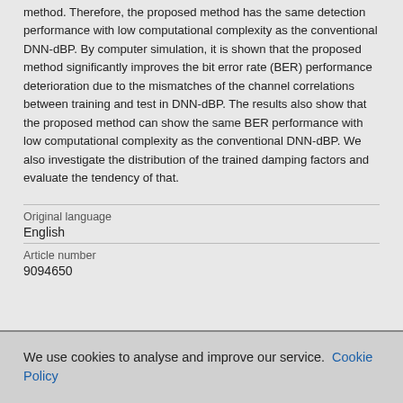method. Therefore, the proposed method has the same detection performance with low computational complexity as the conventional DNN-dBP. By computer simulation, it is shown that the proposed method significantly improves the bit error rate (BER) performance deterioration due to the mismatches of the channel correlations between training and test in DNN-dBP. The results also show that the proposed method can show the same BER performance with low computational complexity as the conventional DNN-dBP. We also investigate the distribution of the trained damping factors and evaluate the tendency of that.
| Original language |  |
| English |  |
| Article number |  |
| 9094650 |  |
We use cookies to analyse and improve our service. Cookie Policy